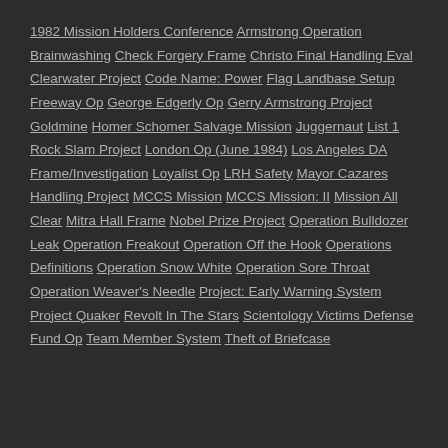1982 Mission Holders Conference Armstrong Operation Brainwashing Check Forgery Frame Christo Final Handling Eval Clearwater Project Code Name: Power Flag Landbase Setup Freeway Op George Edgerly Op Gerry Armstrong Project Goldmine Homer Schomer Salvage Mission Juggernaut List 1 Rock Slam Project London Op (June 1984) Los Angeles DA Frame/Investigation Loyalist Op LRH Safety Mayor Cazares Handling Project MCCS Mission MCCS Mission: II Mission All Clear Mitra Hall Frame Nobel Prize Project Operation Bulldozer Leak Operation Freakout Operation Off the Hook Operations Definitions Operation Snow White Operation Sore Throat Operation Weaver's Needle Project: Early Warning System Project Quaker Revolt In The Stars Scientology Victims Defense Fund Op Team Member System Theft of Briefcase